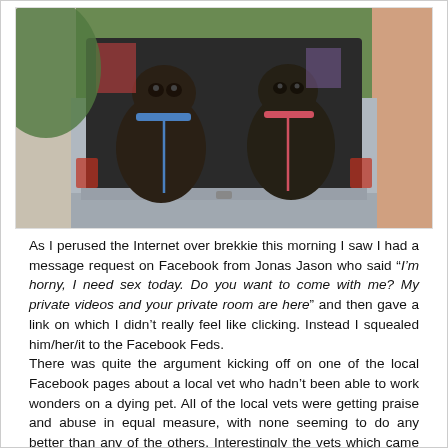[Figure (photo): Two dark-colored dogs (appear to be pugs or similar breed) sitting in the open trunk/boot of a car, both wearing leashes, viewed from behind the vehicle outdoors.]
As I perused the Internet over brekkie this morning I saw I had a message request on Facebook from Jonas Jason who said “I’m horny, I need sex today. Do you want to come with me? My private videos and your private room are here” and then gave a link on which I didn’t really feel like clicking. Instead I squealed him/her/it to the Facebook Feds.
There was quite the argument kicking off on one of the local Facebook pages about a local vet who hadn’t been able to work wonders on a dying pet. All of the local vets were getting praise and abuse in equal measure, with none seeming to do any better than any of the others. Interestingly the vets which came in for the most praise and least abuse were those who were furthest away from Ashford. With a dozen or so vets within striking distance of home, why would anyone drive for over an hour to an